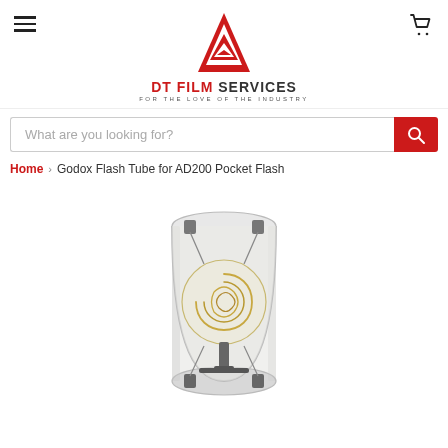[Figure (logo): DT Film Services logo with red triangular arrow icon and text 'DT FILM SERVICES - FOR THE LOVE OF THE INDUSTRY']
[Figure (screenshot): Search bar with placeholder 'What are you looking for?' and red search button]
Home > Godox Flash Tube for AD200 Pocket Flash
[Figure (photo): Godox flash tube product photo showing a cylindrical glass enclosure with internal flash tube components and a spiral filament visible inside]